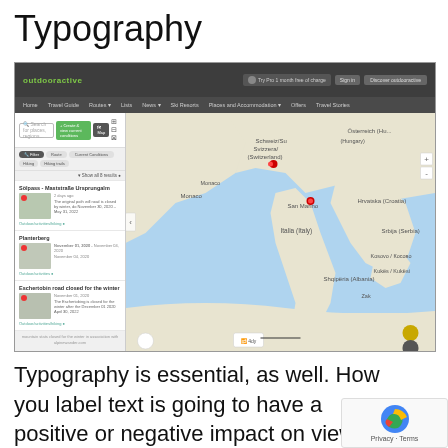Typography
[Figure (screenshot): Screenshot of the outdooractive website showing a navigation bar, search bar with filters, a left panel with road closure listings including map thumbnails, and a large interactive map showing parts of Europe including Italy, Switzerland, Croatia, and surrounding countries.]
Typography is essential, as well. How you label text is going to have a positive or negative impact on viewers. Make th...